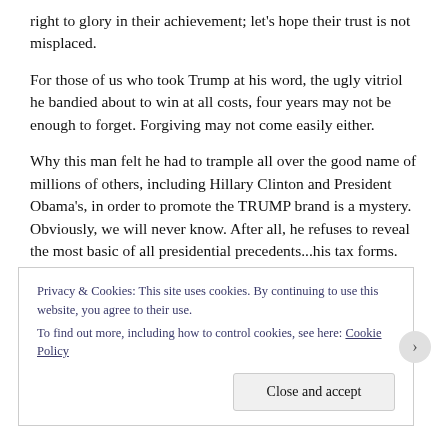right to glory in their achievement; let's hope their trust is not misplaced.
For those of us who took Trump at his word, the ugly vitriol he bandied about to win at all costs, four years may not be enough to forget. Forgiving may not come easily either.
Why this man felt he had to trample all over the good name of millions of others, including Hillary Clinton and President Obama's, in order to promote the TRUMP brand is a mystery. Obviously, we will never know. After all, he refuses to reveal the most basic of all presidential precedents...his tax forms.
Privacy & Cookies: This site uses cookies. By continuing to use this website, you agree to their use.
To find out more, including how to control cookies, see here: Cookie Policy